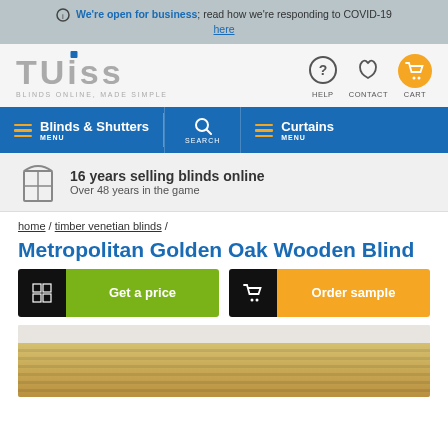We're open for business; read how we're responding to COVID-19 here
[Figure (logo): TUISS Blinds Online, Made Simple logo with help, contact and cart icons]
[Figure (infographic): Blue navigation bar with Blinds & Shutters MENU, SEARCH, Curtains MENU]
[Figure (infographic): Trust bar: window icon, 16 years selling blinds online, Over 48 years in the game]
home / timber venetian blinds /
Metropolitan Golden Oak Wooden Blind
[Figure (infographic): Two CTA buttons: Get a price (calculator icon, green) and Order sample (cart icon, orange)]
[Figure (photo): Product photo showing wooden venetian blinds in golden oak color]